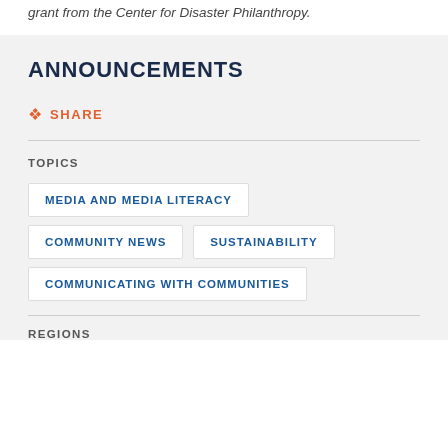grant from the Center for Disaster Philanthropy.
ANNOUNCEMENTS
SHARE
TOPICS
MEDIA AND MEDIA LITERACY
COMMUNITY NEWS
SUSTAINABILITY
COMMUNICATING WITH COMMUNITIES
REGIONS